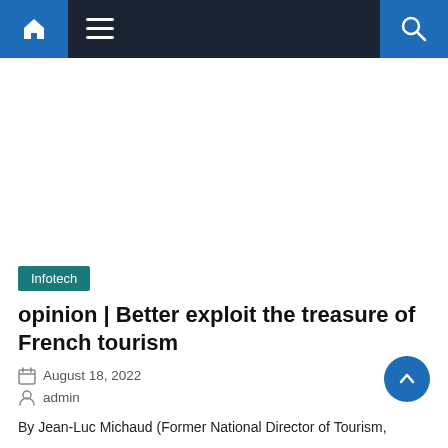Navigation bar with home, menu, and search icons
Infotech
opinion | Better exploit the treasure of French tourism
August 18, 2022
admin
By Jean-Luc Michaud (Former National Director of Tourism,